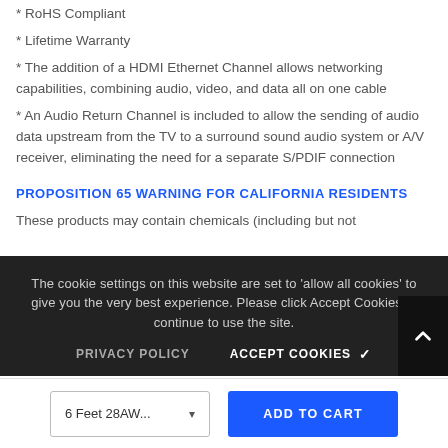* RoHS Compliant
* Lifetime Warranty
* The addition of a HDMI Ethernet Channel allows networking capabilities, combining audio, video, and data all on one cable
* An Audio Return Channel is included to allow the sending of audio data upstream from the TV to a surround sound audio system or A/V receiver, eliminating the need for a separate S/PDIF connection
PROPOSITION 65 WARNING FOR CALIFORNIA RESIDENTS
These products may contain chemicals (including but not harm. For more inform... CLICK HERE
The cookie settings on this website are set to 'allow all cookies' to give you the very best experience. Please click Accept Cookies to continue to use the site.
PRIVACY POLICY    ACCEPT COOKIES ✓
6 Feet 28AW...    ADD TO CART